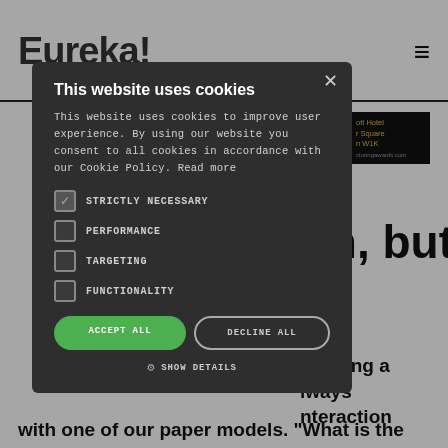Eureka!
[Figure (screenshot): Cookie consent modal dialog overlay on a website. The modal has a dark background with title 'This website uses cookies', body text about cookie policy, checkboxes for STRICTLY NECESSARY (checked), PERFORMANCE, TARGETING, FUNCTIONALITY, and buttons ACCEPT ALL and DECLINE ALL, plus SHOW DETAILS link.]
This website uses cookies
This website uses cookies to improve user experience. By using our website you consent to all cookies in accordance with our Cookie Policy. Read more
STRICTLY NECESSARY (checked)
PERFORMANCE
TARGETING
FUNCTIONALITY
ACCEPT ALL
DECLINE ALL
SHOW DETAILS